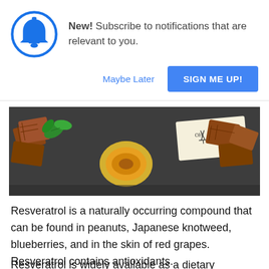[Figure (infographic): Notification popup with a blue bell icon in a circle on the left, and text reading 'New! Subscribe to notifications that are relevant to you.' with 'Maybe Later' text link and 'SIGN ME UP!' blue button.]
[Figure (photo): Photo of chocolate pieces with green mint leaves, a halved golden fruit, and more chocolate squares on a dark slate surface, with a handwritten card reading 'Resveratrol' with a molecular structure diagram.]
Resveratrol is a naturally occurring compound that can be found in peanuts, Japanese knotweed, blueberries, and in the skin of red grapes. Resveratrol contains antioxidants.
Resveratrol is widely available as a dietary...